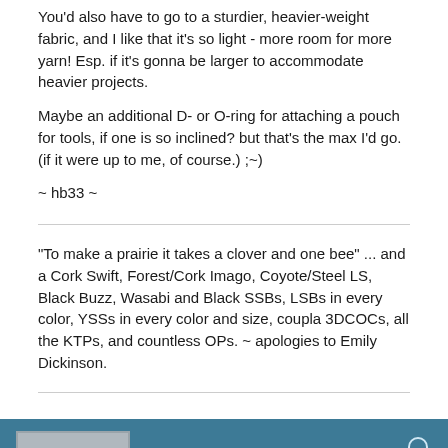You'd also have to go to a sturdier, heavier-weight fabric, and I like that it's so light - more room for more yarn! Esp. if it's gonna be larger to accommodate heavier projects.
Maybe an additional D- or O-ring for attaching a pouch for tools, if one is so inclined? but that's the max I'd go. (if it were up to me, of course.) ;~)
~ hb33 ~
"To make a prairie it takes a clover and one bee" ... and a Cork Swift, Forest/Cork Imago, Coyote/Steel LS, Black Buzz, Wasabi and Black SSBs, LSBs in every color, YSSs in every color and size, coupla 3DCOCs, all the KTPs, and countless OPs. ~ apologies to Emily Dickinson.
Tzporah
Forum Member
Join Date: Apr 2008   Posts: 137
10-12-2008, 02:22 PM
#13
Darcy